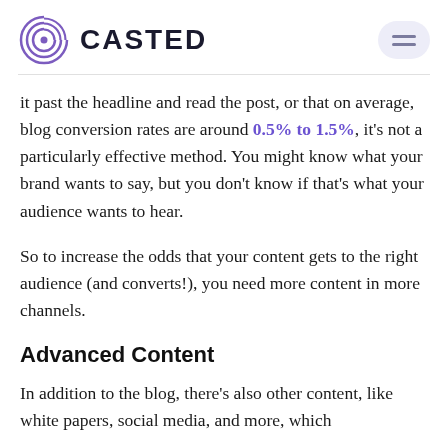CASTED
it past the headline and read the post, or that on average, blog conversion rates are around 0.5% to 1.5%, it's not a particularly effective method. You might know what your brand wants to say, but you don't know if that's what your audience wants to hear.
So to increase the odds that your content gets to the right audience (and converts!), you need more content in more channels.
Advanced Content
In addition to the blog, there's also other content, like white papers, social media, and more, which